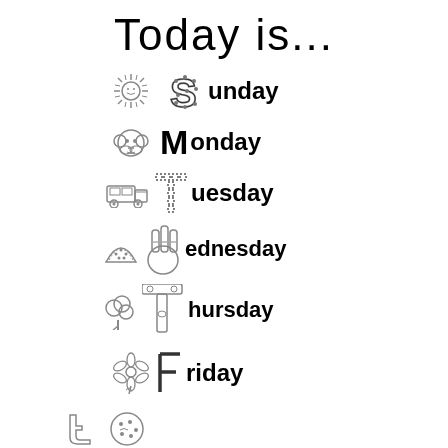Today is...
Sunday
Monday
Tuesday
Wednesday
Thursday
Friday
[Figure (illustration): Partially visible illustration at bottom of page]